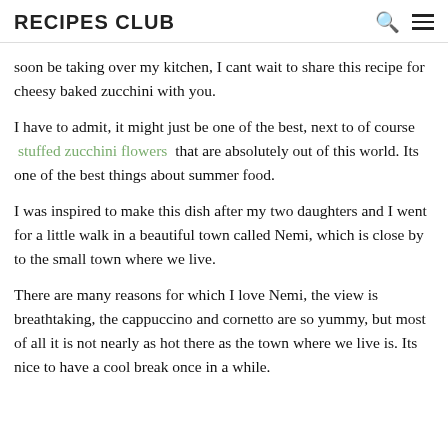RECIPES CLUB
soon be taking over my kitchen, I cant wait to share this recipe for cheesy baked zucchini with you.
I have to admit, it might just be one of the best, next to of course stuffed zucchini flowers that are absolutely out of this world. Its one of the best things about summer food.
I was inspired to make this dish after my two daughters and I went for a little walk in a beautiful town called Nemi, which is close by to the small town where we live.
There are many reasons for which I love Nemi, the view is breathtaking, the cappuccino and cornetto are so yummy, but most of all it is not nearly as hot there as the town where we live is. Its nice to have a cool break once in a while.